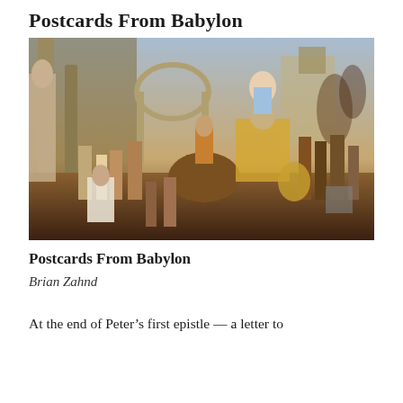Postcards From Babylon
[Figure (photo): A classical painting depicting a grand ancient scene with figures, horses, columns, and architecture reminiscent of Alexander the Great's entry into Babylon. Features warriors, attendants, a mounted figure, and elaborate decoration.]
Postcards From Babylon
Brian Zahnd
At the end of Peter’s first epistle — a letter to